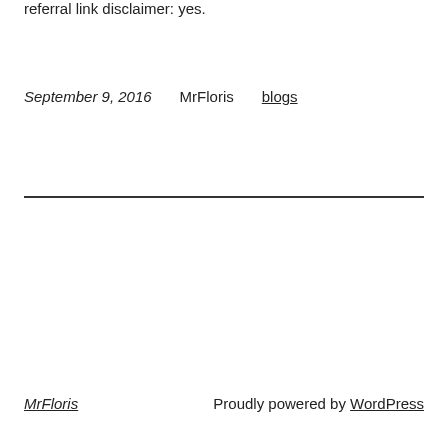referral link disclaimer: yes.
September 9, 2016    MrFloris    blogs
MrFloris    Proudly powered by WordPress